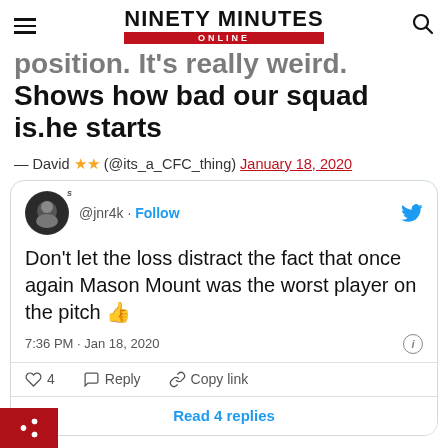NINETY MINUTES ONLINE
position. It's really weird. Shows how bad our squad is.he starts
— David ★★ (@its_a_CFC_thing) January 18, 2020
[Figure (screenshot): Embedded tweet from @jnr4k: Don't let the loss distract the fact that once again Mason Mount was the worst player on the pitch 👍 — 7:36 PM · Jan 18, 2020, with 4 likes, Reply, Copy link, Read 4 replies]
Read 4 replies